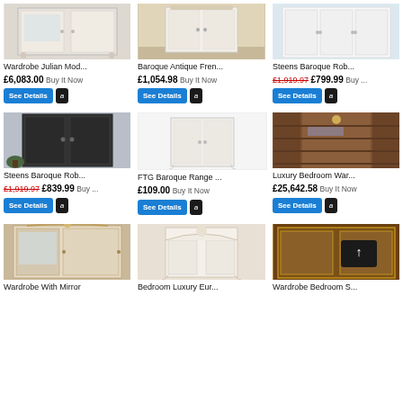[Figure (photo): White antique-style wardrobe with ornate legs - Wardrobe Julian Mod...]
Wardrobe Julian Mod...
£6,083.00 Buy It Now
[Figure (photo): Baroque Antique French style white wardrobe in bedroom]
Baroque Antique Fren...
£1,054.98 Buy It Now
[Figure (photo): Steens Baroque white wardrobe]
Steens Baroque Rob...
£1,919.97 £799.99 Buy ...
[Figure (photo): Steens Baroque black three-door wardrobe with plant]
Steens Baroque Rob...
£1,919.97 £839.99 Buy ...
[Figure (photo): FTG Baroque Range - empty white background product image]
FTG Baroque Range ...
£109.00 Buy It Now
[Figure (photo): Luxury Bedroom Wardrobe - large wooden walk-in closet with chandelier]
Luxury Bedroom War...
£25,642.58 Buy It Now
[Figure (photo): White wardrobe with mirror door]
Wardrobe With Mirror
[Figure (photo): Bedroom Luxury European style white wardrobe]
Bedroom Luxury Eur...
[Figure (photo): Wardrobe Bedroom S - ornate gold wooden wardrobe with up arrow overlay]
Wardrobe Bedroom S...